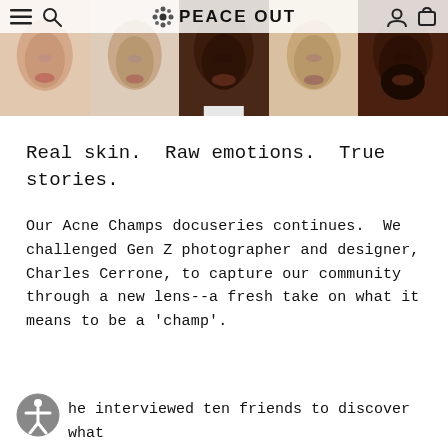PEACE OUT — navigation header with hamburger menu, search, logo, user and cart icons
[Figure (photo): Hero photo strip showing five close-up face portraits of diverse individuals, cropped to show the lower half of their faces (nose and mouth region). Left to right: light-skinned person, light-skinned person, dark-skinned person, medium-skinned person, dark-skinned Black man with beard.]
Real skin. Raw emotions. True stories.
Our Acne Champs docuseries continues. We challenged Gen Z photographer and designer, Charles Cerrone, to capture our community through a new lens--a fresh take on what it means to be a 'champ'.
he interviewed ten friends to discover what it means to be confident in your own skin,